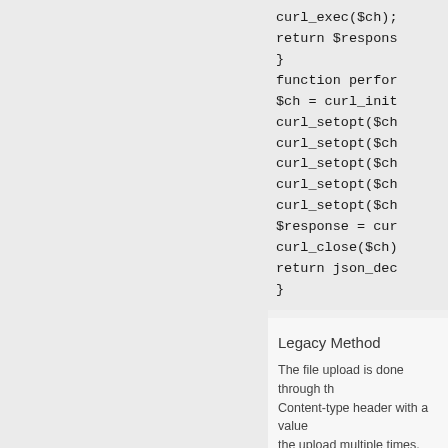[Figure (screenshot): Code block showing PHP curl functions: return $response, }, function perfor..., $ch = curl_init..., curl_setopt($ch..., curl_setopt($ch..., curl_setopt($ch..., curl_setopt($ch..., curl_setopt($ch..., $response = cur..., curl_close($ch)..., return json_dec..., }]
Legacy Method
The file upload is done through th Content-type header with a value the upload multiple times, with ea
The endpoint is located at